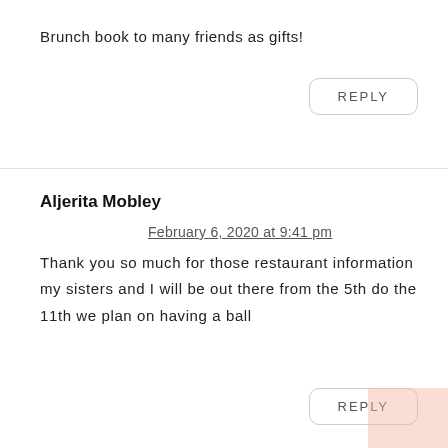Brunch book to many friends as gifts!
REPLY
Aljerita Mobley
February 6, 2020 at 9:41 pm
Thank you so much for those restaurant information my sisters and I will be out there from the 5th do the 11th we plan on having a ball
REPLY